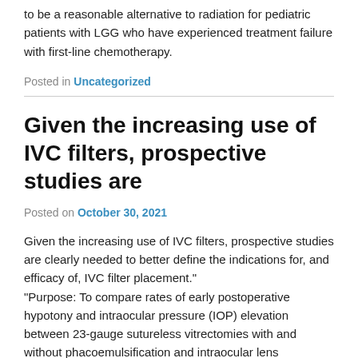to be a reasonable alternative to radiation for pediatric patients with LGG who have experienced treatment failure with first-line chemotherapy.
Posted in Uncategorized
Given the increasing use of IVC filters, prospective studies are
Posted on October 30, 2021
Given the increasing use of IVC filters, prospective studies are clearly needed to better define the indications for, and efficacy of, IVC filter placement." “Purpose: To compare rates of early postoperative hypotony and intraocular pressure (IOP) elevation between 23-gauge sutureless vitrectomies with and without phacoemulsification and intraocular lens